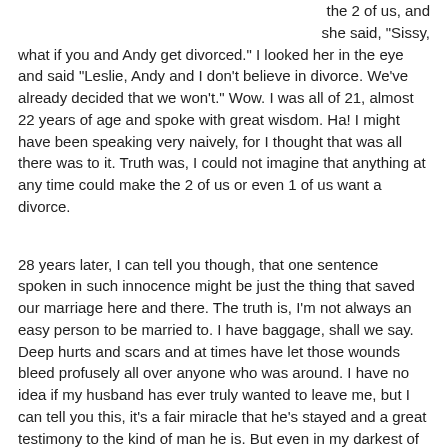the 2 of us, and she said, "Sissy, what if you and Andy get divorced." I looked her in the eye and said "Leslie, Andy and I don't believe in divorce. We've already decided that we won't." Wow. I was all of 21, almost 22 years of age and spoke with great wisdom. Ha! I might have been speaking very naively, for I thought that was all there was to it. Truth was, I could not imagine that anything at any time could make the 2 of us or even 1 of us want a divorce.
28 years later, I can tell you though, that one sentence spoken in such innocence might be just the thing that saved our marriage here and there. The truth is, I'm not always an easy person to be married to. I have baggage, shall we say. Deep hurts and scars and at times have let those wounds bleed profusely all over anyone who was around. I have no idea if my husband has ever truly wanted to leave me, but I can tell you this, it's a fair miracle that he's stayed and a great testimony to the kind of man he is. But even in my darkest of hours, I remember telling my precious little sister,